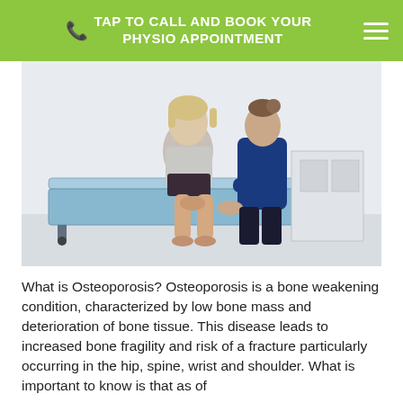TAP TO CALL AND BOOK YOUR PHYSIO APPOINTMENT
[Figure (photo): A physiotherapist in a dark blue top examining the knee of an older female patient seated on a blue treatment table in a clinical setting. A clinic logo with 'Move Faster. Feel Better.' tagline is visible in the top left of the photo.]
What is Osteoporosis? Osteoporosis is a bone weakening condition, characterized by low bone mass and deterioration of bone tissue. This disease leads to increased bone fragility and risk of a fracture particularly occurring in the hip, spine, wrist and shoulder. What is important to know is that as of today, a common opinion is that as of